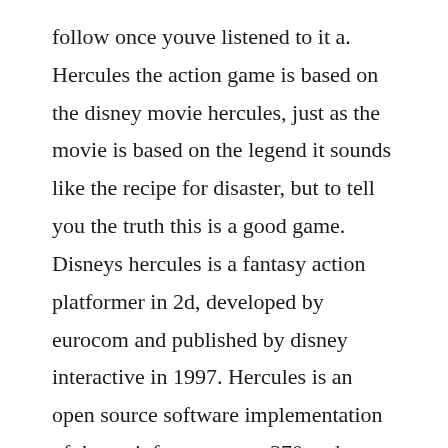follow once youve listened to it a. Hercules the action game is based on the disney movie hercules, just as the movie is based on the legend it sounds like the recipe for disaster, but to tell you the truth this is a good game. Disneys hercules is a fantasy action platformer in 2d, developed by eurocom and published by disney interactive in 1997. Hercules is an open source software implementation of the mainframe system370 and esa390 architectures, in addition to the new 64bit zarchitecture. Hercules the legendary journeys s01 ep09 the warrior